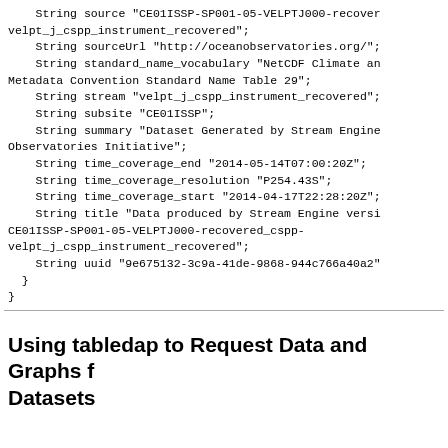String source "CE01ISSP-SP001-05-VELPTJ000-recover velpt_j_cspp_instrument_recovered";
    String sourceUrl "http://oceanobservatories.org/";
    String standard_name_vocabulary "NetCDF Climate an Metadata Convention Standard Name Table 29";
    String stream "velpt_j_cspp_instrument_recovered";
    String subsite "CE01ISSP";
    String summary "Dataset Generated by Stream Engine Observatories Initiative";
    String time_coverage_end "2014-05-14T07:00:20Z";
    String time_coverage_resolution "P254.43S";
    String time_coverage_start "2014-04-17T22:28:20Z";
    String title "Data produced by Stream Engine versi CE01ISSP-SP001-05-VELPTJ000-recovered_cspp-velpt_j_cspp_instrument_recovered";
    String uuid "9e675132-3c9a-41de-9868-944c766a40a2"
  }
}
Using tabledap to Request Data and Graphs from Tabular Datasets